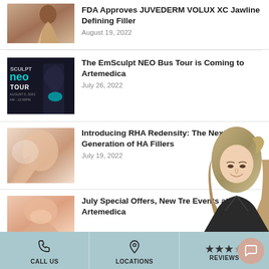[Figure (photo): Woman with long brown hair touching her neck, brown background thumbnail]
FDA Approves JUVEDERM VOLUX XC Jawline Defining Filler
August 19, 2022
[Figure (photo): EmSculpt NEO Bus Tour promotional image with dark background, teal NEO logo, and tour text]
The EmSculpt NEO Bus Tour is Coming to Artemedica
July 26, 2022
[Figure (photo): Close-up of woman touching her face, skin care context]
Introducing RHA Redensity: The Next Generation of HA Fillers
July 19, 2022
[Figure (photo): Woman portrait overlay on right side, smiling blonde woman]
[Figure (photo): Partial thumbnail for July Special Offers article]
July Special Offers, New Tre Events at Artemedica
CALL US | LOCATIONS | REVIEWS